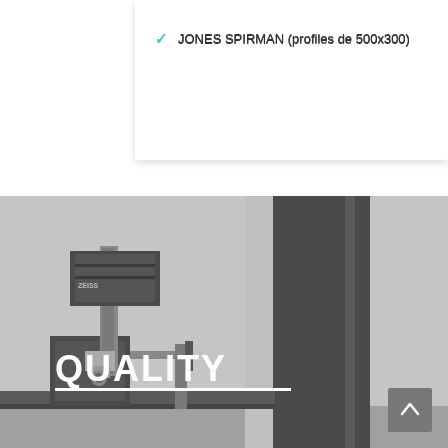JONES SPIRMAN (profiles de 500x300)
[Figure (photo): Industrial quality control machine (CMM or optical measuring device) with ZEISS branding, positioned on a rail against a dark panel background. The word QUALITY appears in bold white text overlaid on the image.]